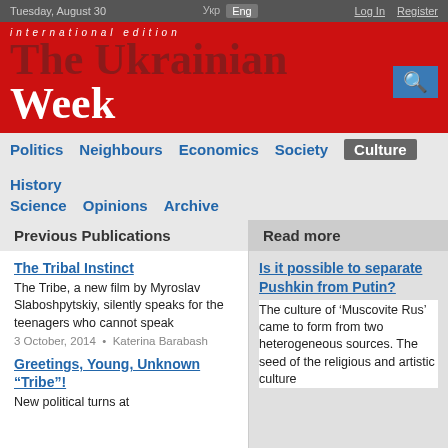Tuesday, August 30
international edition
The Ukrainian Week
Politics  Neighbours  Economics  Society  Culture  History  Science  Opinions  Archive
Previous Publications
Read more
The Tribal Instinct
The Tribe, a new film by Myroslav Slaboshpytskiy, silently speaks for the teenagers who cannot speak
3 October, 2014  •  Katerina Barabash
Greetings, Young, Unknown “Tribe”!
New political turns at
Is it possible to separate Pushkin from Putin?
The culture of ‘Muscovite Rus’ came to form from two heterogeneous sources. The seed of the religious and artistic culture